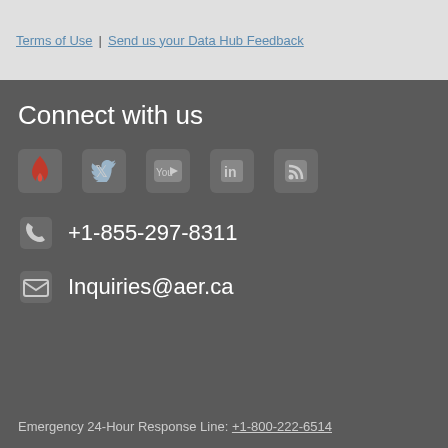Terms of Use | Send us your Data Hub Feedback
Connect with us
[Figure (infographic): Social media icons: flame/AER logo, Twitter, YouTube, LinkedIn, RSS feed]
+1-855-297-8311
Inquiries@aer.ca
Emergency 24-Hour Response Line: +1-800-222-6514